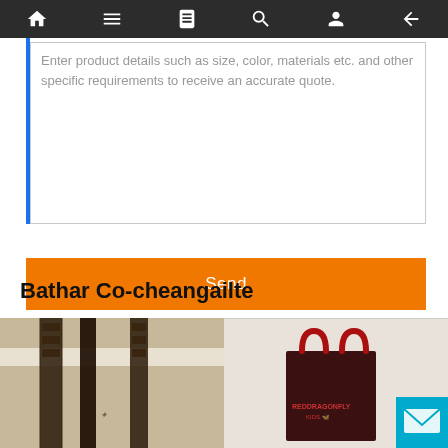Navigation bar with home, menu, book, search, user, and back icons
Enter product details such as size, color, materials etc. and other specific requirements to receive an accurate quote.
Send
Bathar Co-cheangailte
[Figure (photo): Close-up photo of a beige/tan shopping bag with dark brown leather handles and decorative stitching]
[Figure (photo): Photo of a dark maroon/brown non-woven shopping bag with red handles and 'RED DRAGONFLY' branding]